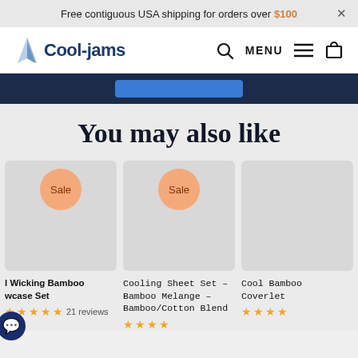Free contiguous USA shipping for orders over $100
[Figure (logo): Cool-jams logo with sailboat icon and navigation menu icons]
[Figure (screenshot): Dark navy blue band at top of product section]
You may also like
[Figure (infographic): Three product cards: 'Wicking Bamboo Pillowcase Set' with Sale badge, 'Cooling Sheet Set - Bamboo Melange - Bamboo/Cotton Blend' with Sale badge, and 'Cool Bamboo Coverlet'. Each shows a gray product image placeholder, star ratings, and review counts.]
Wicking Bamboo Pillowcase Set
Cooling Sheet Set - Bamboo Melange - Bamboo/Cotton Blend
Cool Bamboo Coverlet